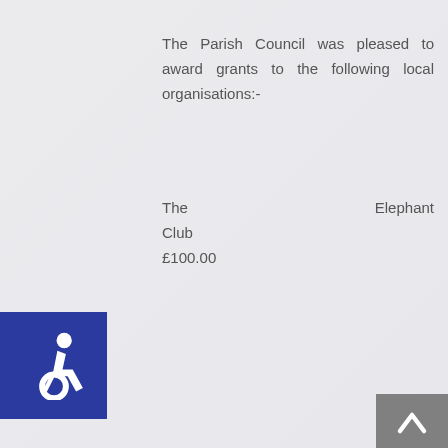The Parish Council was pleased to award grants to the following local organisations:-
The Elephant Club £100.00
All Saints Church for the production of the Gurnard News £500.00
Coffee and Chat Club £100.00
Gurnard Parent and Toddler Group £150.00
Unfortunately no grant was awarded to the
[Figure (illustration): Wheelchair accessibility icon — white wheelchair user symbol on blue background square]